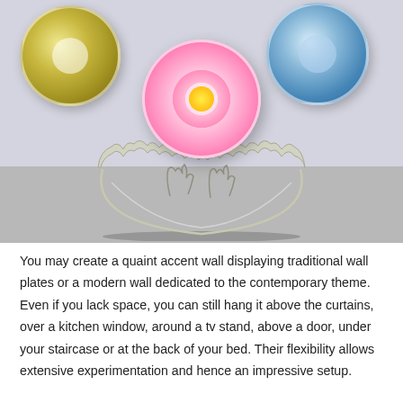[Figure (photo): Photo showing three round decorative wall plates with floral designs (yellow/green, pink daisy, blue floral) mounted on a light purple wall, with a silver filigree coral-shaped bowl displayed on a surface below them.]
You may create a quaint accent wall displaying traditional wall plates or a modern wall dedicated to the contemporary theme. Even if you lack space, you can still hang it above the curtains, over a kitchen window, around a tv stand, above a door, under your staircase or at the back of your bed. Their flexibility allows extensive experimentation and hence an impressive setup.